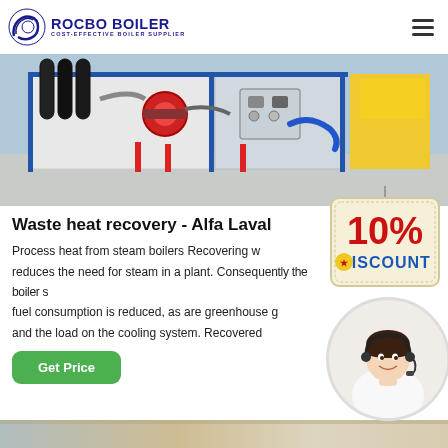ROCBO BOILER — COST-EFFECTIVE BOILER SUPPLIER
[Figure (photo): Industrial boiler room with pipes, valves, and blue/white machinery panels]
Waste heat recovery - Alfa Laval
[Figure (illustration): 10% DISCOUNT hanging sign badge]
Process heat from steam boilers Recovering w... reduces the need for steam in a plant. Consequently the boiler s... fuel consumption is reduced, as are greenhouse g... and the load on the cooling system. Recovered...
[Figure (photo): Customer service representative woman with headset, smiling]
Get Price